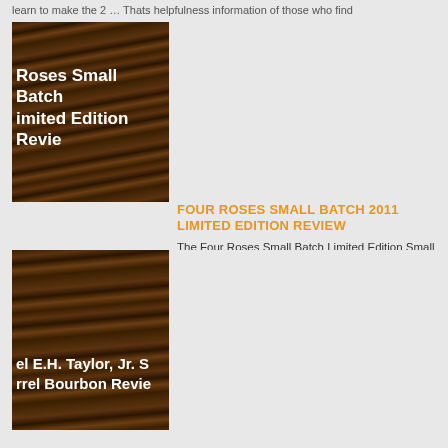learn to make the 2 … Thats helpfulness information of those who find
[Figure (photo): Thumbnail image showing dark wood grain background with white bold text overlay reading 'Roses Small Batch Limited Edition Revie']
FOUR ROSES SMALL BATCH 2011 LIMITED EDITION REVIEW
The Four Roses Small Batch Limited Edition Small Batch 2011 Bourbon review. It has been been released and
Read more
[Figure (photo): Thumbnail image showing dark wood grain background with white bold text overlay reading 'el E.H. Taylor, Jr. S rrel Bourbon Revie']